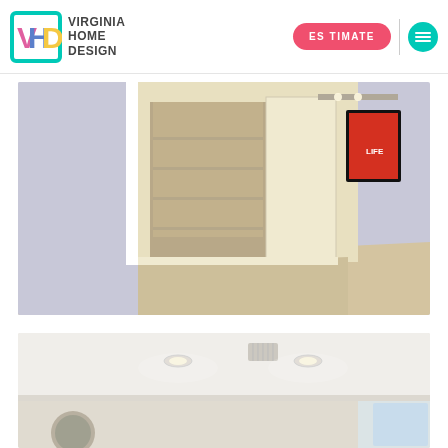[Figure (logo): Virginia Home Design logo with teal square bracket icon and text]
[Figure (photo): Interior bedroom/hallway photo showing open sliding closet door revealing shelving, beige carpet, lavender walls, and a red-framed artwork on the wall]
[Figure (photo): Interior room photo showing white ceiling with recessed lighting, light walls, and partial view of a window]